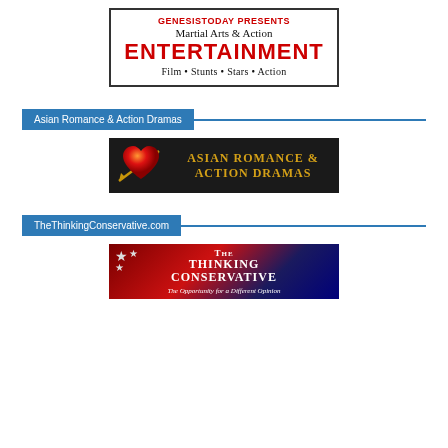[Figure (logo): Martial Arts & Action ENTERTAINMENT banner with red text, Film Stunts Stars Action tagline, black border]
Asian Romance & Action Dramas
[Figure (logo): Asian Romance & Action Dramas banner with dark background, gold text, red heart with arrow graphic]
TheThinkingConservative.com
[Figure (logo): The Thinking Conservative banner with American flag background, white text reading The Thinking Conservative - The Opportunity for a Different Opinion]